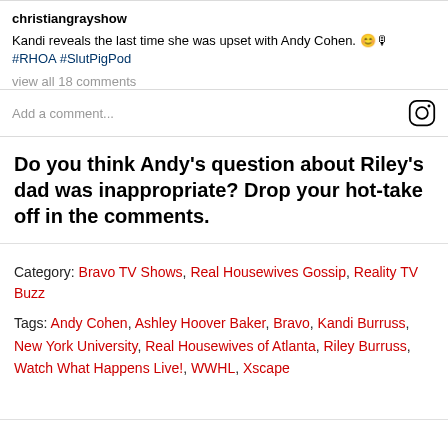christiangrayshow
Kandi reveals the last time she was upset with Andy Cohen. 😊🎙 #RHOA #SlutPigPod
view all 18 comments
Add a comment...
Do you think Andy's question about Riley's dad was inappropriate? Drop your hot-take off in the comments.
Category: Bravo TV Shows, Real Housewives Gossip, Reality TV Buzz
Tags: Andy Cohen, Ashley Hoover Baker, Bravo, Kandi Burruss, New York University, Real Housewives of Atlanta, Riley Burruss, Watch What Happens Live!, WWHL, Xscape